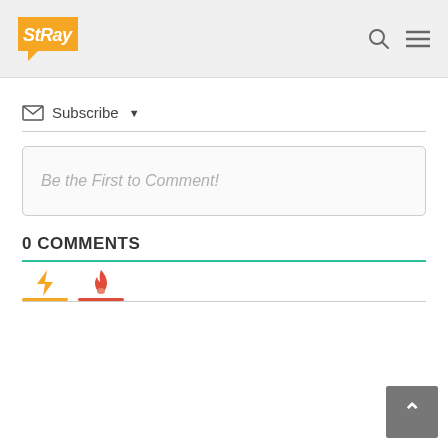Stray — navigation header with logo, search, and menu icons
Subscribe ▾
Be the First to Comment!
0 COMMENTS
[Figure (infographic): Tab icons: lightning bolt (yellow) and flame (red) with colored underlines indicating comment sorting tabs]